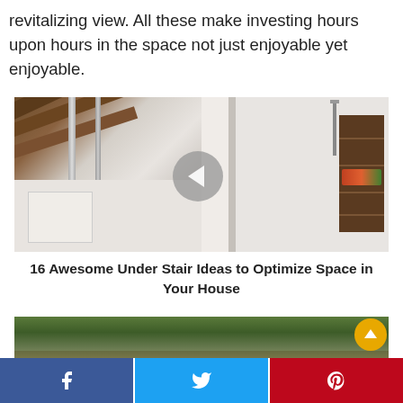revitalizing view. All these make investing hours upon hours in the space not just enjoyable yet enjoyable.
[Figure (photo): Interior photo showing understairs area with wooden beams, metal railings on the left, and a room with a dark wood shelving unit on the right. A circular navigation arrow button overlays the center.]
16 Awesome Under Stair Ideas to Optimize Space in Your House
[Figure (photo): Partial view of a garden or outdoor area with green succulent plants.]
Facebook share | Twitter share | Pinterest share